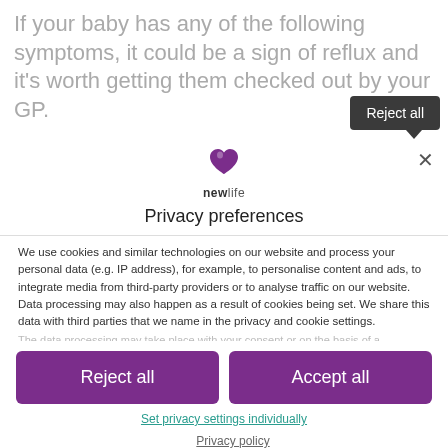If your baby has any of the following symptoms, it could be a sign of reflux and it's worth getting them checked out by your GP.
[Figure (logo): Newlife charity logo with heart icon and text 'newlife']
Privacy preferences
We use cookies and similar technologies on our website and process your personal data (e.g. IP address), for example, to personalise content and ads, to integrate media from third-party providers or to analyse traffic on our website. Data processing may also happen as a result of cookies being set. We share this data with third parties that we name in the privacy and cookie settings.
The data processing may take place with your consent or on the basis of a
Reject all
Accept all
Set privacy settings individually
Privacy policy